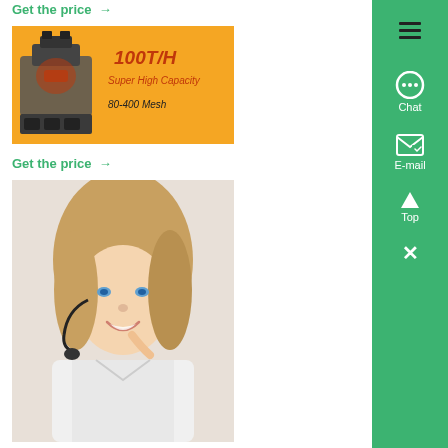Get the price →
[Figure (photo): Industrial grinding machine on orange/yellow background with text: 100T/H, Super High Capacity, 80-400 Mesh]
Get the price →
[Figure (photo): Smiling woman with headset, customer service representative]